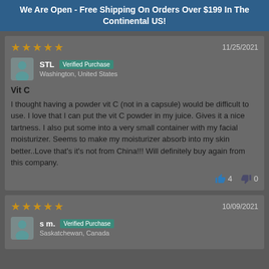We Are Open - Free Shipping On Orders Over $199 In The Continental US!
5 stars — 11/25/2021
STL — Verified Purchase — Washington, United States
Vit C
I thought having a powder vit C (not in a capsule) would be difficult to use. I love that I can put the vit C powder in my juice. Gives it a nice tartness. I also put some into a very small container with my facial moisturizer. Seems to make my moisturizer absorb into my skin better..Love that's it's not from China!!! Will definitely buy again from this company.
👍 4   👎 0
5 stars — 10/09/2021
s m. — Verified Purchase — Saskatchewan, Canada